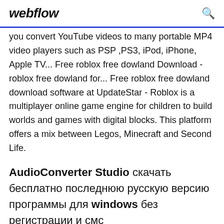webflow
you convert YouTube videos to many portable MP4 video players such as PSP ,PS3, iPod, iPhone, Apple TV... Free roblox free dowland Download - roblox free dowland for... Free roblox free dowland download software at UpdateStar - Roblox is a multiplayer online game engine for children to build worlds and games with digital blocks. This platform offers a mix between Legos, Minecraft and Second Life.
AudioConverter Studio скачать бесплатно последнюю русскую версию программы для windows без регистрации и смс